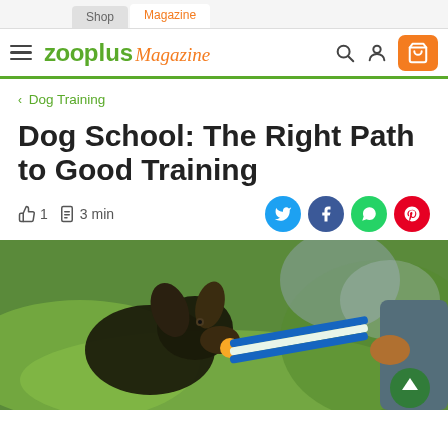Shop | Magazine
zooplus Magazine
< Dog Training
Dog School: The Right Path to Good Training
👍 1  📋 3 min
[Figure (photo): A dark-colored puppy biting a rope toy held by a person outdoors on green grass]